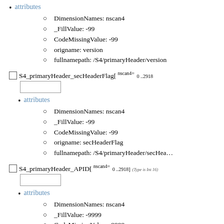attributes
DimensionNames: nscan4
_FillValue: -99
CodeMissingValue: -99
origname: version
fullnamepath: /S4/primaryHeader/version
S4_primaryHeader_secHeaderFlag[ nscan4= 0 ..2918]
attributes
DimensionNames: nscan4
_FillValue: -99
CodeMissingValue: -99
origname: secHeaderFlag
fullnamepath: /S4/primaryHeader/secHeaderFlag
S4_primaryHeader_APID[ nscan4= 0 ..2918] (Type is Int 16)
attributes
DimensionNames: nscan4
_FillValue: -9999
CodeMissingValue: -9999
origname: APID
fullnamepath: /S4/primaryHeader/APID